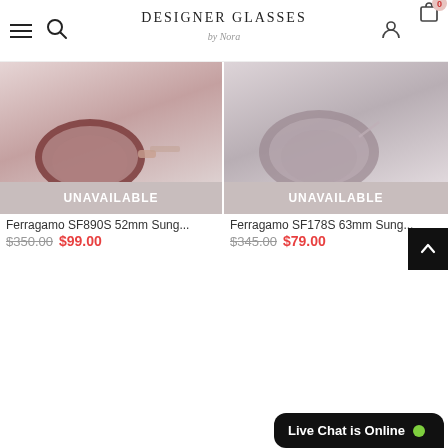Designer Glasses by Nora — navigation header
[Figure (photo): Cropped product image of Ferragamo SF890S 52mm sunglasses in dark red/burgundy frames]
UNAVAILABLE
Ferragamo SF890S 52mm Sung...
$350.00  $99.00
[Figure (photo): Cropped product image of Ferragamo SF178S 63mm sunglasses in mauve/dusty rose frames]
UNAVAILABLE
Ferragamo SF178S 63mm Sung...
$345.00  $79.00
-77%
Sold Out
-77%
Sold Out
Live Chat is Online